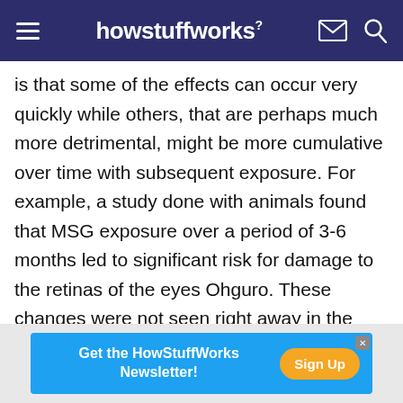howstuffworks
is that some of the effects can occur very quickly while others, that are perhaps much more detrimental, might be more cumulative over time with subsequent exposure. For example, a study done with animals found that MSG exposure over a period of 3-6 months led to significant risk for damage to the retinas of the eyes Ohguro. These changes were not seen right away in the study, demonstrating that studies on MSG using 1-2 doses might miss many of the potential long-term effects associated with MSG intake.
[Figure (other): Advertisement banner: Get the HowStuffWorks Newsletter! with a Sign Up button]